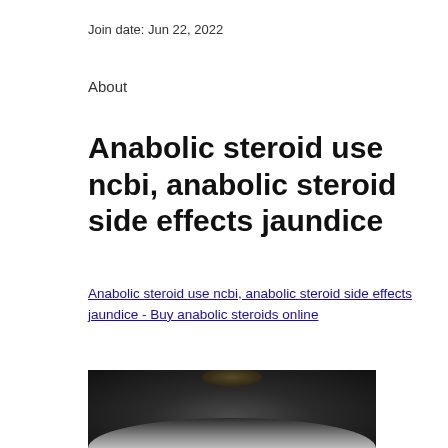Join date: Jun 22, 2022
About
Anabolic steroid use ncbi, anabolic steroid side effects jaundice
Anabolic steroid use ncbi, anabolic steroid side effects jaundice - Buy anabolic steroids online
[Figure (photo): Dark blurred image, likely showing a person or object, with a faint amber/golden glow in upper center area]